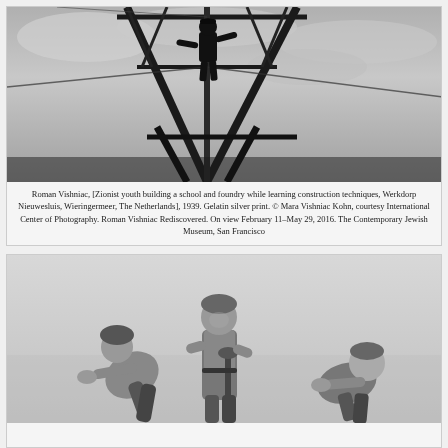[Figure (photo): Black and white photograph of a person on a metal construction structure/tower against a cloudy sky]
Roman Vishniac, [Zionist youth building a school and foundry while learning construction techniques, Werkdorp Nieuwesluis, Wieringermeer, The Netherlands], 1939. Gelatin silver print. © Mara Vishniac Kohn, courtesy International Center of Photography. Roman Vishniac Rediscovered. On view February 11–May 29, 2016. The Contemporary Jewish Museum, San Francisco
[Figure (photo): Black and white photograph of three young people working outdoors, one standing holding a tool, two crouching, against a light sky background]